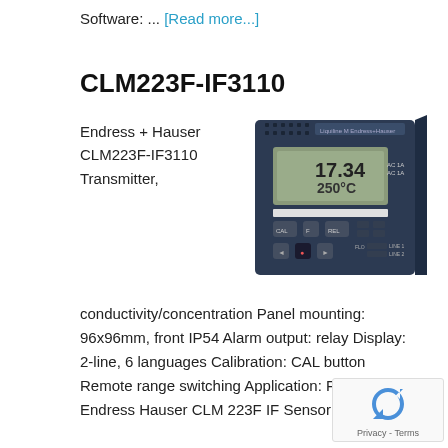Software: ... [Read more...]
CLM223F-IF3110
Endress + Hauser CLM223F-IF3110 Transmitter,
[Figure (photo): Endress+Hauser CLM223F-IF3110 transmitter device, a dark blue panel-mount unit with LCD display showing 17.34 and 250°C, CAL and function buttons on front panel]
conductivity/concentration Panel mounting: 96x96mm, front IP54 Alarm output: relay Display: 2-line, 6 languages Calibration: CAL button Remote range switching Application: Food Endress Hauser CLM 223F IF Sensor Input;